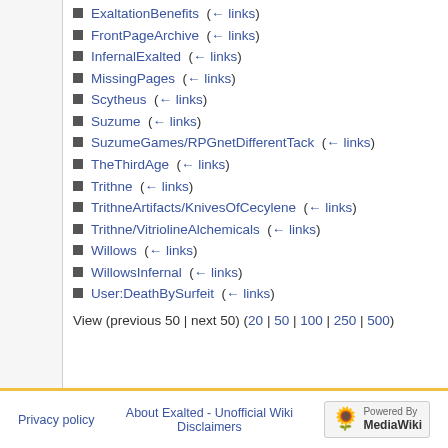ExaltationBenefits  (← links)
FrontPageArchive  (← links)
InfernalExalted  (← links)
MissingPages  (← links)
Scytheus  (← links)
Suzume  (← links)
SuzumeGames/RPGnetDifferentTack  (← links)
TheThirdAge  (← links)
Trithne  (← links)
TrithneArtifacts/KnivesOfCecylene  (← links)
Trithne/VitriolineAlchemicals  (← links)
Willows  (← links)
WillowsInfernal  (← links)
User:DeathBySurfeit  (← links)
View (previous 50 | next 50) (20 | 50 | 100 | 250 | 500)
Privacy policy   About Exalted - Unofficial Wiki   Disclaimers   Powered by MediaWiki